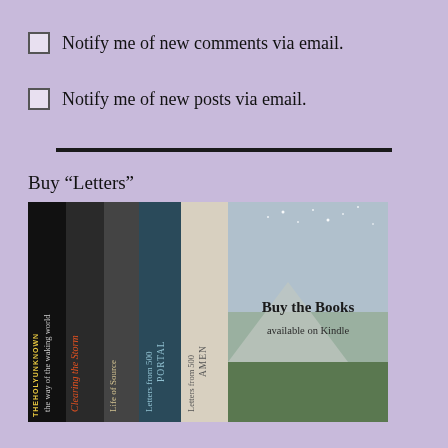Notify me of new comments via email.
Notify me of new posts via email.
Buy “Letters”
[Figure (photo): A stack of book spines showing titles: THEHOLYUNKNOWN, the way of the waking world, Clearing the Storm, Life of Source, Letters from 500 PORTAL, Letters from 500 AMEN, alongside a landscape scene with text 'Buy the Books available on Kindle']